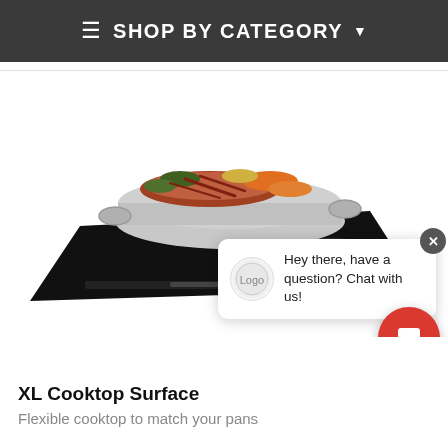SHOP BY CATEGORY
[Figure (photo): A large silver roasting pan filled with meat and vegetables, sitting on a black induction cooktop surface.]
Hey there, have a question? Chat with us!
XL Cooktop Surface
Flexible cooktop to match your pans